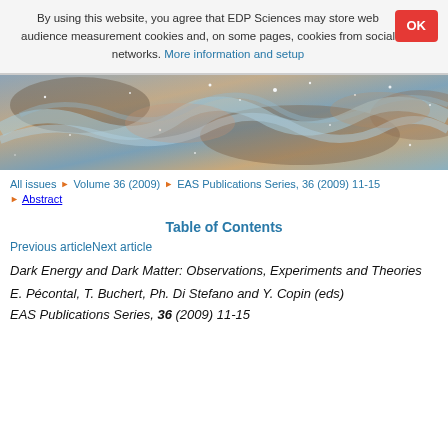By using this website, you agree that EDP Sciences may store web audience measurement cookies and, on some pages, cookies from social networks. More information and setup
[Figure (photo): Astronomical image showing a nebula with blue-white gas filaments and stars against a brownish-orange dust background, resembling a Hubble Space Telescope photo.]
All issues ▶ Volume 36 (2009) ▶ EAS Publications Series, 36 (2009) 11-15
▶ Abstract
Table of Contents
Previous articleNext article
Dark Energy and Dark Matter: Observations, Experiments and Theories
E. Pécontal, T. Buchert, Ph. Di Stefano and Y. Copin (eds)
EAS Publications Series, 36 (2009) 11-15